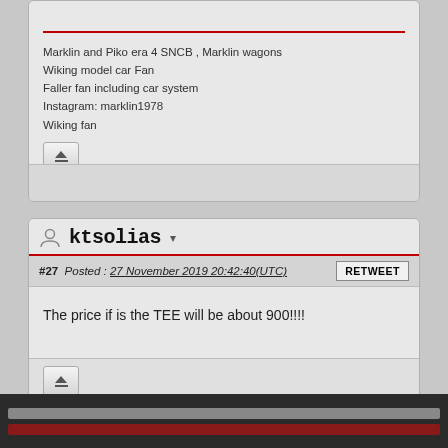Marklin and Piko era 4 SNCB , Marklin wagons
Wiking model car Fan
Faller fan including car system
Instagram: marklin1978
Wiking fan
ktsolias
#27  Posted : 27 November 2019 20:42:40(UTC)
The price if is the TEE will be about 900!!!!